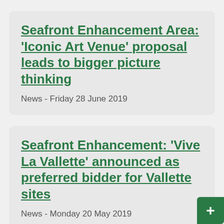Seafront Enhancement Area: 'Iconic Art Venue' proposal leads to bigger picture thinking
News - Friday 28 June 2019
Seafront Enhancement: 'Vive La Vallette' announced as preferred bidder for Vallette sites
News - Monday 20 May 2019